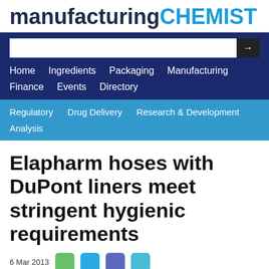manufacturing CHEMIST
[Figure (screenshot): Navigation bar with search box and menu items: Home, Ingredients, Packaging, Manufacturing, Finance, Events, Directory, Regulatory, Drug Delivery, Research & Development, Analysis]
Elapharm hoses with DuPont liners meet stringent hygienic requirements
6 Mar 2013